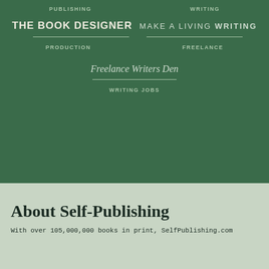PUBLISHING    WRITING
[Figure (logo): THE BOOK DESIGNER logo on dark green background]
[Figure (logo): MAKE A LIVING WRITING logo on dark green background]
PRODUCTION    FREELANCE
Freelance Writers Den
WRITING JOBS
About Self-Publishing
With over 105,000,000 books in print, SelfPublishing.com